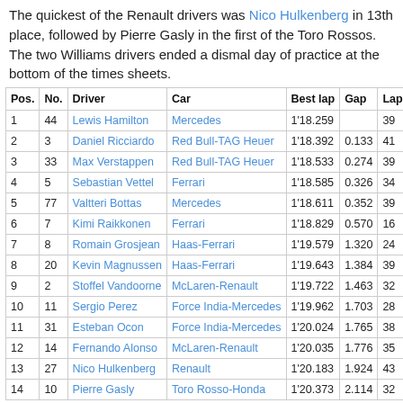The quickest of the Renault drivers was Nico Hulkenberg in 13th place, followed by Pierre Gasly in the first of the Toro Rossos. The two Williams drivers ended a dismal day of practice at the bottom of the times sheets.
| Pos. | No. | Driver | Car | Best lap | Gap | Laps |
| --- | --- | --- | --- | --- | --- | --- |
| 1 | 44 | Lewis Hamilton | Mercedes | 1'18.259 |  | 39 |
| 2 | 3 | Daniel Ricciardo | Red Bull-TAG Heuer | 1'18.392 | 0.133 | 41 |
| 3 | 33 | Max Verstappen | Red Bull-TAG Heuer | 1'18.533 | 0.274 | 39 |
| 4 | 5 | Sebastian Vettel | Ferrari | 1'18.585 | 0.326 | 34 |
| 5 | 77 | Valtteri Bottas | Mercedes | 1'18.611 | 0.352 | 39 |
| 6 | 7 | Kimi Raikkonen | Ferrari | 1'18.829 | 0.570 | 16 |
| 7 | 8 | Romain Grosjean | Haas-Ferrari | 1'19.579 | 1.320 | 24 |
| 8 | 20 | Kevin Magnussen | Haas-Ferrari | 1'19.643 | 1.384 | 39 |
| 9 | 2 | Stoffel Vandoorne | McLaren-Renault | 1'19.722 | 1.463 | 32 |
| 10 | 11 | Sergio Perez | Force India-Mercedes | 1'19.962 | 1.703 | 28 |
| 11 | 31 | Esteban Ocon | Force India-Mercedes | 1'20.024 | 1.765 | 38 |
| 12 | 14 | Fernando Alonso | McLaren-Renault | 1'20.035 | 1.776 | 35 |
| 13 | 27 | Nico Hulkenberg | Renault | 1'20.183 | 1.924 | 43 |
| 14 | 10 | Pierre Gasly | Toro Rosso-Honda | 1'20.373 | 2.114 | 32 |